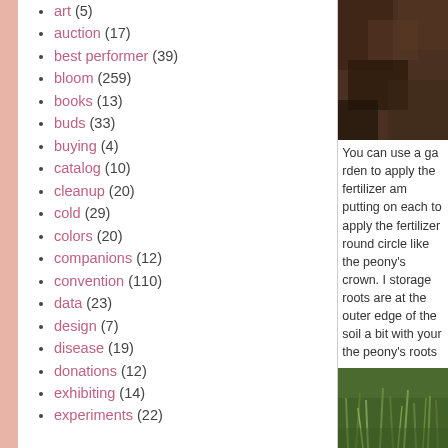art (5)
auction (17)
best performer (39)
bloom (259)
books (13)
buds (33)
buying (4)
catalog (10)
cleanup (20)
cold (29)
colors (20)
companions (12)
convention (110)
data (23)
design (7)
disease (19)
donations (12)
exhibiting (14)
experiments (22)
[Figure (photo): Top photo: dark soil/mulch texture, brown tones]
You can use a ga... to apply the ferti... am putting on ea... to apply the ferti... round circle like ... peony's crown. I... storage roots are... outer edge of the... soil a bit with yo... the peony's roots... your peony, you...
[Figure (photo): Bottom photo: green grass or plant shoots, garden scene]